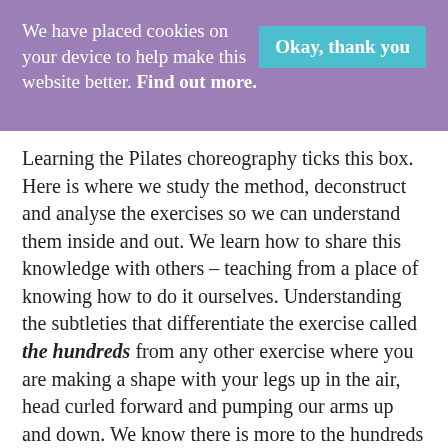We have placed cookies on your device to help make this website better. Find out more.
Okay, thank you
Learning the Pilates choreography ticks this box. Here is where we study the method, deconstruct and analyse the exercises so we can understand them inside and out. We learn how to share this knowledge with others – teaching from a place of knowing how to do it ourselves. Understanding the subtleties that differentiate the exercise called the hundreds from any other exercise where you are making a shape with your legs up in the air, head curled forward and pumping our arms up and down. We know there is more to the hundreds than this. It